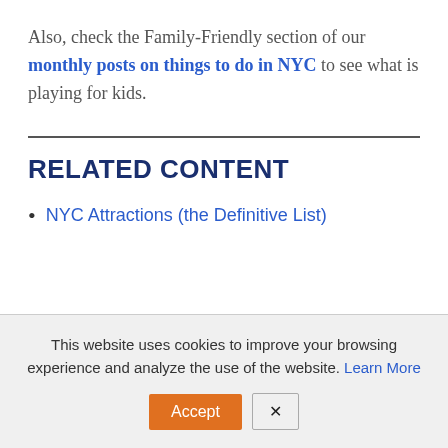Also, check the Family-Friendly section of our monthly posts on things to do in NYC to see what is playing for kids.
RELATED CONTENT
NYC Attractions (the Definitive List)
This website uses cookies to improve your browsing experience and analyze the use of the website. Learn More